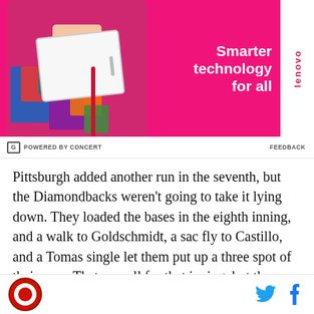[Figure (photo): Lenovo advertisement banner showing a person in colorful clothing holding a white laptop. Pink background with text 'Smarter technology for all' and Lenovo logo on white tab on right side.]
POWERED BY CONCERT    FEEDBACK
Pittsburgh added another run in the seventh, but the Diamondbacks weren't going to take it lying down. They loaded the bases in the eighth inning, and a walk to Goldschmidt, a sac fly to Castillo, and a Tomas single let them put up a three spot of their own. That was all for that inning, but they weren't done in the ninth. The Pirates committed two pretty basic errors
[Figure (logo): Site logo: circular red logo with white center, and social media icons for Twitter and Facebook]